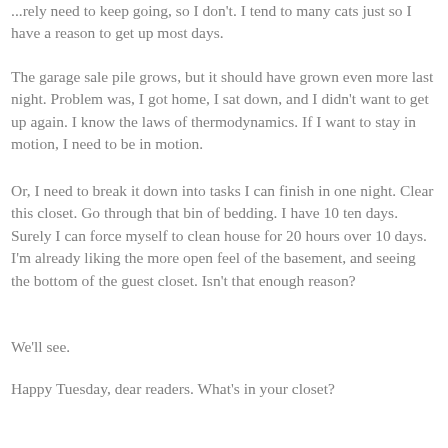...rely need to keep going, so I don't. I tend to many cats just so I have a reason to get up most days.
The garage sale pile grows, but it should have grown even more last night. Problem was, I got home, I sat down, and I didn't want to get up again. I know the laws of thermodynamics. If I want to stay in motion, I need to be in motion.
Or, I need to break it down into tasks I can finish in one night. Clear this closet. Go through that bin of bedding. I have 10 ten days. Surely I can force myself to clean house for 20 hours over 10 days. I'm already liking the more open feel of the basement, and seeing the bottom of the guest closet. Isn't that enough reason?
We'll see.
Happy Tuesday, dear readers. What's in your closet?